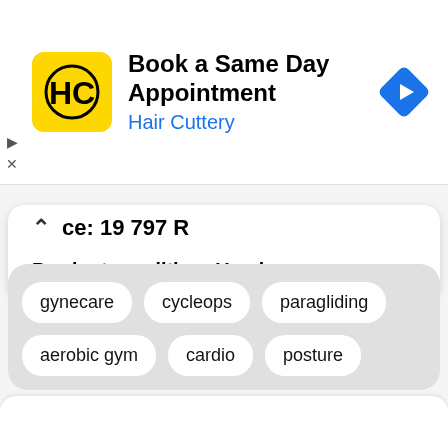[Figure (screenshot): Hair Cuttery ad banner with yellow logo, text 'Book a Same Day Appointment / Hair Cuttery', and blue diamond navigation arrow icon]
ce: 19 797 R
Product condition: Used
See details
gynecare
cycleops
paragliding
aerobic gym
cardio
posture